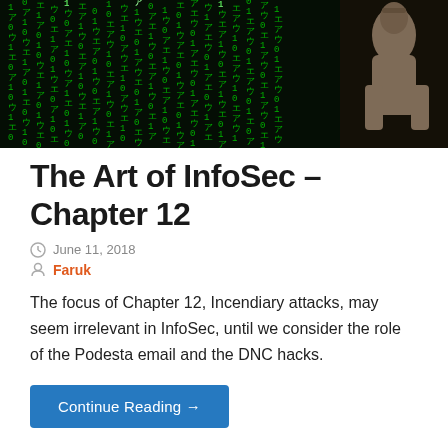[Figure (photo): Dark matrix-style digital rain of green characters on black background with a stone statue figure on the right side]
The Art of InfoSec – Chapter 12
June 11, 2018
Faruk
The focus of Chapter 12, Incendiary attacks, may seem irrelevant in InfoSec, until we consider the role of the Podesta email and the DNC hacks.
Continue Reading →